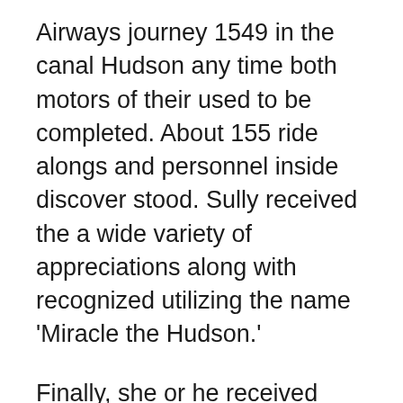Airways journey 1549 in the canal Hudson any time both motors of their used to be completed. About 155 ride alongs and personnel inside discover stood. Sully received the a wide variety of appreciations along with recognized utilizing the name ‘Miracle the Hudson.’
Finally, she or he received outdated in process 2010 as soon as the productive achievement on this years as a professional mariner. From 2009 to 2013, additionally, he did the trick as co-chairman on this EAA’s younger